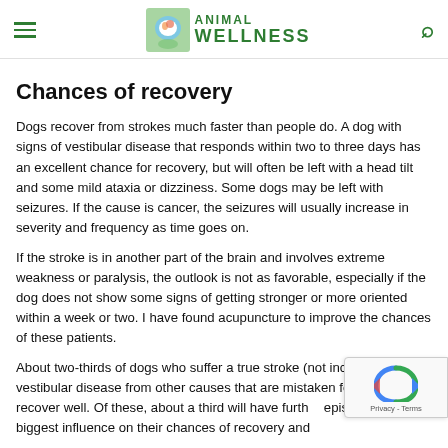Animal Wellness
Chances of recovery
Dogs recover from strokes much faster than people do. A dog with signs of vestibular disease that responds within two to three days has an excellent chance for recovery, but will often be left with a head tilt and some mild ataxia or dizziness. Some dogs may be left with seizures. If the cause is cancer, the seizures will usually increase in severity and frequency as time goes on.
If the stroke is in another part of the brain and involves extreme weakness or paralysis, the outlook is not as favorable, especially if the dog does not show some signs of getting stronger or more oriented within a week or two. I have found acupuncture to improve the chances of these patients.
About two-thirds of dogs who suffer a true stroke (not including vestibular disease from other causes that are mistaken for a stroke), recover well. Of these, about a third will have further episodes. The biggest influence on their chances of recovery and